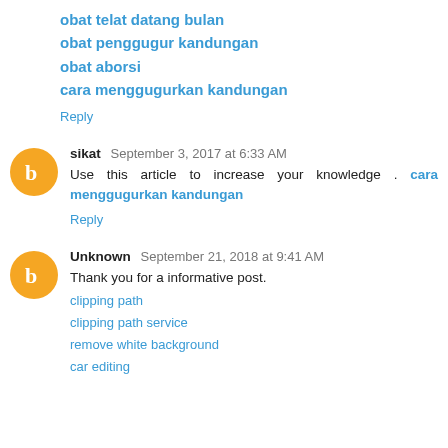obat telat datang bulan
obat penggugur kandungan
obat aborsi
cara menggugurkan kandungan
Reply
sikat  September 3, 2017 at 6:33 AM
Use this article to increase your knowledge . cara menggugurkan kandungan
Reply
Unknown  September 21, 2018 at 9:41 AM
Thank you for a informative post.
clipping path
clipping path service
remove white background
car editing